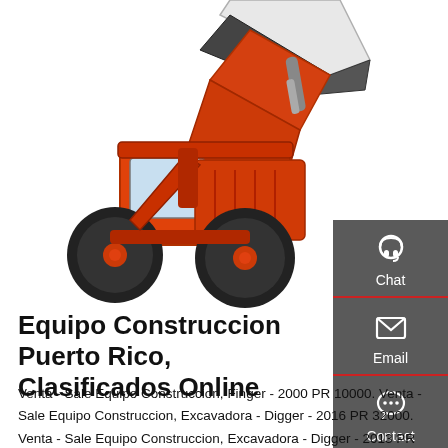[Figure (photo): Orange/red front-end loader (wheel loader) construction machine with bucket raised, on white background]
Equipo Construccion Puerto Rico, Clasificados Online
Venta - Sale Equipo Construccion, Finger - 2000 PR 10000. Venta - Sale Equipo Construccion, Excavadora - Digger - 2016 PR 32000. Venta - Sale Equipo Construccion, Excavadora - Digger - 2013 PR 26000. Venta - Sale Equipo Construccion, Tumba - Dump Truck - 2021 PR 11000. Socio.